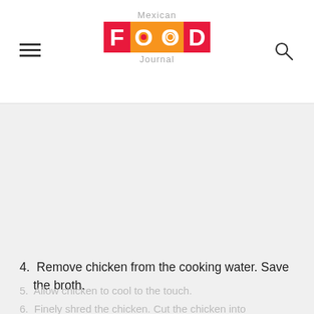Mexican FOOD Journal
[Figure (other): Gray placeholder image area]
4. Remove chicken from the cooking water. Save the broth.
5. Allow chicken to cool to the touch.
6. Finely shred the chicken. Cut the chicken into